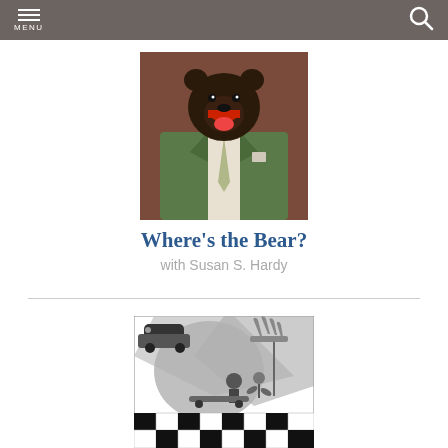MENU
[Figure (photo): A bear wearing a green suit jacket and tie, mouth open, against a brown background — surreal anthropomorphic image]
Where's the Bear?
with Susan S. Hardy
[Figure (illustration): Black and white collage-style illustration featuring a bear shape with cars, hands, and a checkerboard floor pattern]